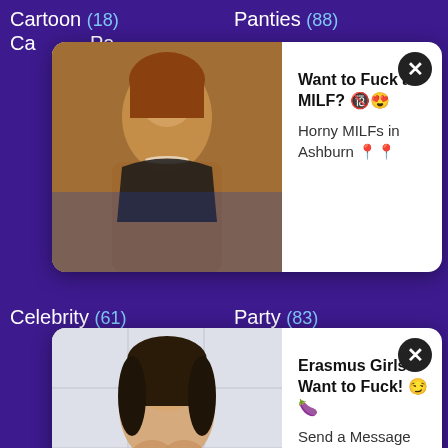Cartoon (18)
Panties (88)
Celebrity (61)
Party (83)
[Figure (photo): Ad popup: woman photo with bold text 'Want to Fuck a MILF? Horny MILFs in Ashburn']
[Figure (photo): Ad popup: woman photo with bold text 'Erasmus Girls Want to Fuck! Send a Message and Fuck for FREE']
Cheating (130)
Pervert (26)
Cheerleader (13)
Petite (75)
Chick (72)
Philippine (0)
Chinese (36)
Phone (15)
Chubby (84)
Pickup (8)
Chunky (3)
Piercing (35)
Cinema (12)
Pigtail (3)
Classic (32)
Pissing (98)
Cleaning (9)
Plump (27)